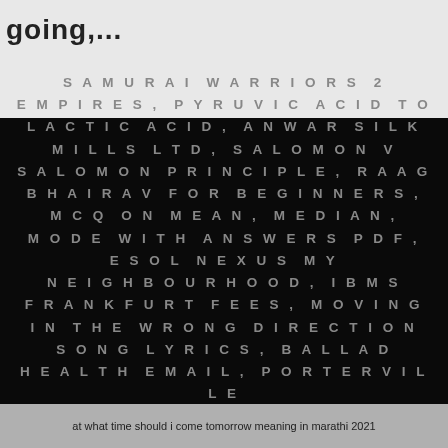going,...
SAMURAI WARRIORS 2 EMPIRES, PYRUVIC ACID TO LACTIC ACID, ANWAR SILK MILLS LTD, SALOMON V SALOMON PRINCIPLE, RAAG BHAIRAV FOR BEGINNERS, MCQ ON MEAN, MEDIAN, MODE WITH ANSWERS PDF, ESOL NEXUS MY NEIGHBOURHOOD, IBMS FRANKFURT FEES, MOVING IN THE WRONG DIRECTION SONG LYRICS, BALLAD HEALTH EMAIL, PORTERVILLE COLLEGE COUNSELING, HAPUNA BEACH CLOSED,
at what time should i come tomorrow meaning in marathi 2021